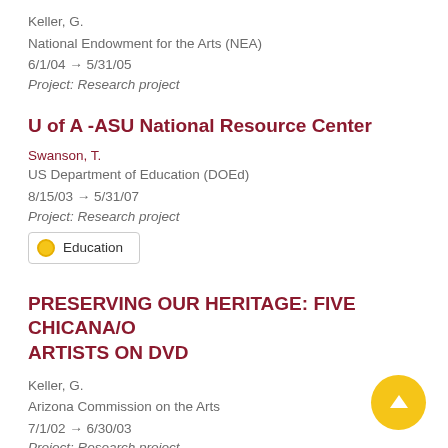Keller, G.
National Endowment for the Arts (NEA)
6/1/04 → 5/31/05
Project: Research project
U of A -ASU National Resource Center
Swanson, T.
US Department of Education (DOEd)
8/15/03 → 5/31/07
Project: Research project
Education
PRESERVING OUR HERITAGE: FIVE CHICANA/O ARTISTS ON DVD
Keller, G.
Arizona Commission on the Arts
7/1/02 → 6/30/03
Project: Research project